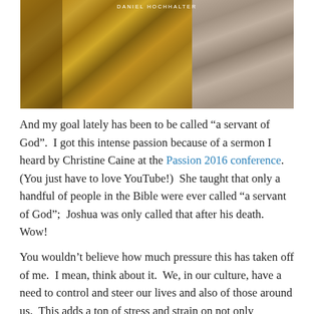[Figure (photo): A photograph showing golden/brown wooden objects on the left side and stone or textured fabric sculpture details on the right, with a photographer credit 'DANIEL HOCHHALTER' overlaid at the top center.]
And my goal lately has been to be called “a servant of God”.  I got this intense passion because of a sermon I heard by Christine Caine at the Passion 2016 conference.  (You just have to love YouTube!)  She taught that only a handful of people in the Bible were ever called “a servant of God”;  Joshua was only called that after his death.  Wow!
You wouldn’t believe how much pressure this has taken off of me.  I mean, think about it.  We, in our culture, have a need to control and steer our lives and also of those around us.  This adds a ton of stress and strain on not only